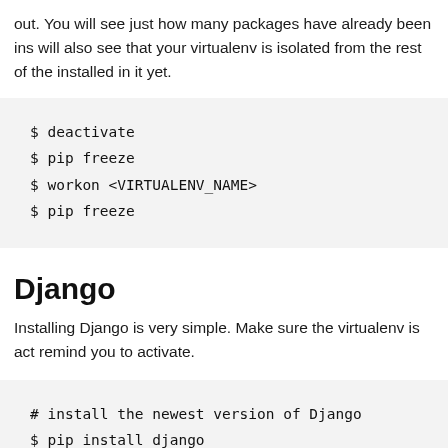out. You will see just how many packages have already been installed. You will also see that your virtualenv is isolated from the rest of the installed in it yet.
$ deactivate
$ pip freeze
$ workon <VIRTUALENV_NAME>
$ pip freeze
Django
Installing Django is very simple. Make sure the virtualenv is activated. I always remind you to activate.
# install the newest version of Django
$ pip install django